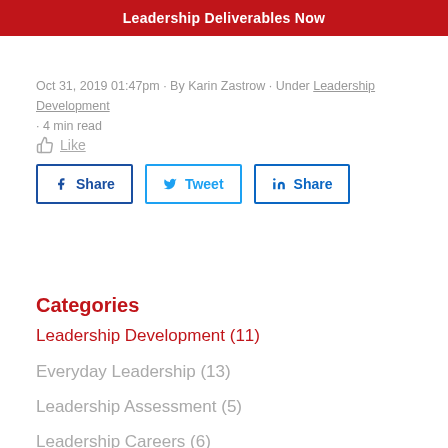Leadership Deliverables Now
Oct 31, 2019 01:47pm · By Karin Zastrow · Under Leadership Development · 4 min read
👍 Like
[Figure (other): Social share buttons: Facebook Share, Twitter Tweet, LinkedIn Share]
Categories
Leadership Development (11)
Everyday Leadership (13)
Leadership Assessment (5)
Leadership Careers (6)